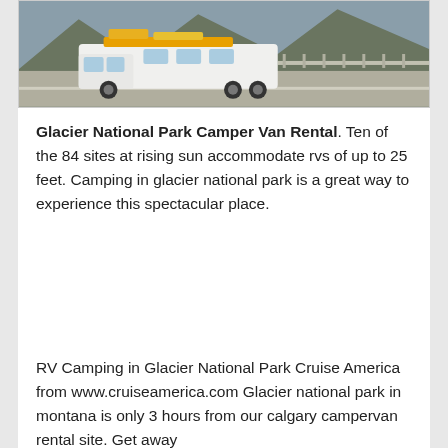[Figure (photo): Photograph of a white RV/camper van on a road with mountains and guardrail visible in the background. The vehicle has yellow equipment mounted on top.]
Glacier National Park Camper Van Rental. Ten of the 84 sites at rising sun accommodate rvs of up to 25 feet. Camping in glacier national park is a great way to experience this spectacular place.
RV Camping in Glacier National Park Cruise America from www.cruiseamerica.com Glacier national park in montana is only 3 hours from our calgary campervan rental site. Get away